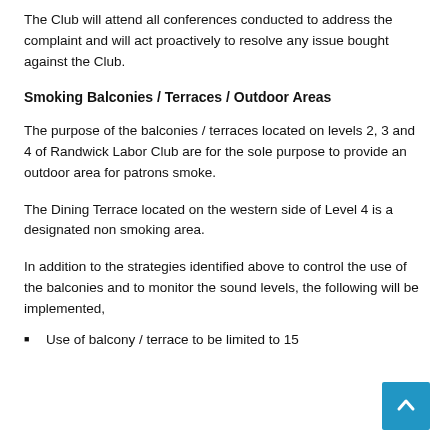The Club will attend all conferences conducted to address the complaint and will act proactively to resolve any issue bought against the Club.
Smoking Balconies / Terraces / Outdoor Areas
The purpose of the balconies / terraces located on levels 2, 3 and 4 of Randwick Labor Club are for the sole purpose to provide an outdoor area for patrons smoke.
The Dining Terrace located on the western side of Level 4 is a designated non smoking area.
In addition to the strategies identified above to control the use of the balconies and to monitor the sound levels, the following will be implemented,
Use of balcony / terrace to be limited to 15